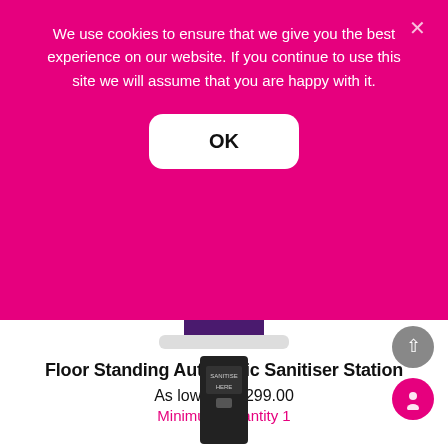We use cookies to ensure that we give you the best experience on our website. If you continue to use this site we will assume that you are happy with it.
OK
[Figure (photo): Partial view of a purple sanitiser station dispenser on a white tray, partially obscured by the cookie consent banner.]
Floor Standing Automatic Sanitiser Station
As low as   £299.00
Minimum Quantity 1
[Figure (photo): Bottom portion of a black floor-standing sanitiser station with SANITISE HERE label visible, shown from below.]